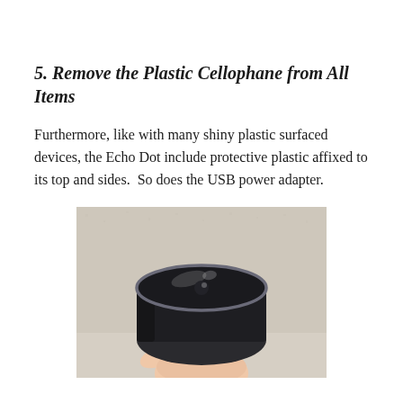5. Remove the Plastic Cellophane from All Items
Furthermore, like with many shiny plastic surfaced devices, the Echo Dot include protective plastic affixed to its top and sides.  So does the USB power adapter.
[Figure (photo): A hand holding an Amazon Echo Dot device from below, showing the top surface with its black glossy finish and light ring, against a textured beige/white background.]